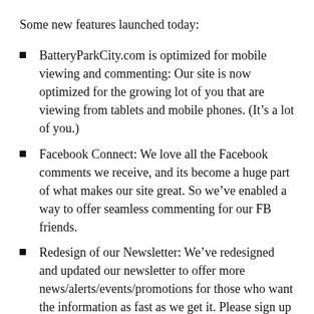Some new features launched today:
BatteryParkCity.com is optimized for mobile viewing and commenting: Our site is now optimized for the growing lot of you that are viewing from tablets and mobile phones. (It’s a lot of you.)
Facebook Connect: We love all the Facebook comments we receive, and its become a huge part of what makes our site great. So we’ve enabled a way to offer seamless commenting for our FB friends.
Redesign of our Newsletter: We’ve redesigned and updated our newsletter to offer more news/alerts/events/promotions for those who want the information as fast as we get it. Please sign up if you aren’t already receiving it.
Last but not least — as our way of honoring the community at large and as our way of paying tribute to the last 10 years we have lived through together, we would like to make a